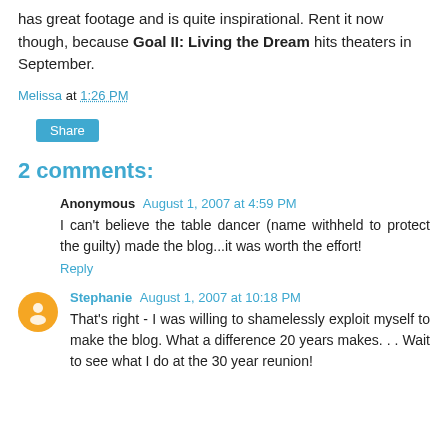has great footage and is quite inspirational. Rent it now though, because Goal II: Living the Dream hits theaters in September.
Melissa at 1:26 PM
Share
2 comments:
Anonymous August 1, 2007 at 4:59 PM
I can't believe the table dancer (name withheld to protect the guilty) made the blog...it was worth the effort!
Reply
Stephanie August 1, 2007 at 10:18 PM
That's right - I was willing to shamelessly exploit myself to make the blog. What a difference 20 years makes. . . Wait to see what I do at the 30 year reunion!